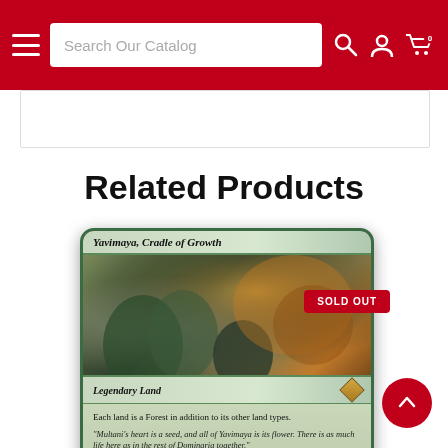Search Our Catalog
Related Products
[Figure (photo): Magic: The Gathering card — Yavimaya, Cradle of Growth. Legendary Land. Shows fantasy forest artwork with a 'SOLD OUT' badge in red.]
SOLD OUT